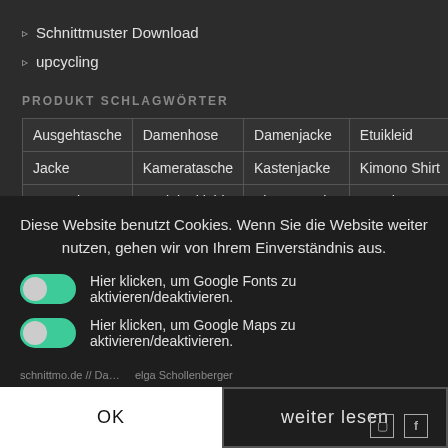Schnittmuster Download
upcycling
PRODUKT SCHLAGWÖRTER
| Ausgehtasche | Damenhose | Damenjacke | Etuikleid | Hose |
| Jacke | Kameratasche | Kastenjacke | Kimono Shirt | Kleid |
| LKW-Plane | O-Linienkleid | Planentasche | Poncho | Tasche |
Diese Website benutzt Cookies. Wenn Sie die Website weiter nutzen, gehen wir von Ihrem Einverständnis aus.
Hier klicken, um Google Fonts zu aktivieren/deaktivieren.
Hier klicken, um Google Maps zu aktivieren/deaktivieren.
schnittmo.de // Da... elga Schollenberger
OK
weiter lesen